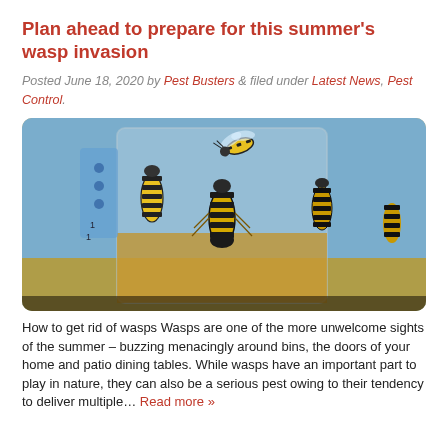Plan ahead to prepare for this summer’s wasp invasion
Posted June 18, 2020 by Pest Busters & filed under Latest News, Pest Control.
[Figure (photo): Close-up photograph of several yellow and black wasps clustered inside and around a glass jar containing a golden liquid, with a blue-dotted background visible.]
How to get rid of wasps Wasps are one of the more unwelcome sights of the summer – buzzing menacingly around bins, the doors of your home and patio dining tables. While wasps have an important part to play in nature, they can also be a serious pest owing to their tendency to deliver multiple… Read more »